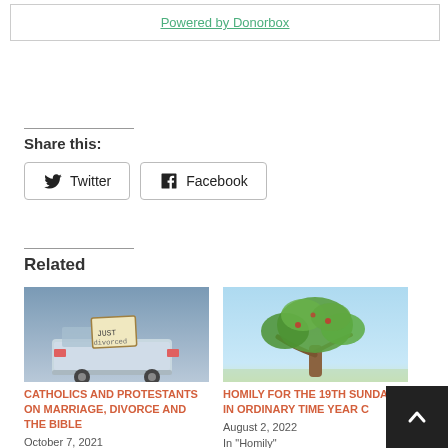Powered by Donorbox
Share this:
Twitter  Facebook
Related
[Figure (photo): Car with 'Just Divorced' sign on the back]
CATHOLICS AND PROTESTANTS ON MARRIAGE, DIVORCE AND THE BIBLE
October 7, 2021
[Figure (photo): A large tree with green foliage against a light blue sky]
HOMILY FOR THE 19TH SUNDAY IN ORDINARY TIME YEAR C
August 2, 2022
In "Homily"